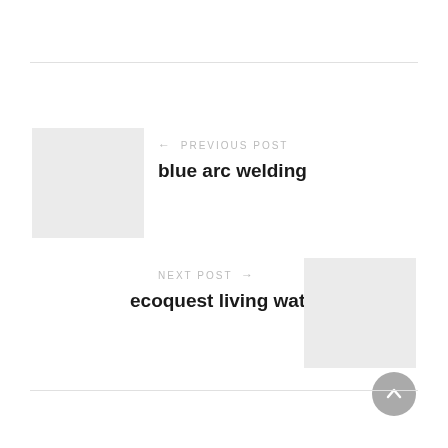[Figure (other): Gray placeholder thumbnail for previous post]
← PREVIOUS POST
blue arc welding
NEXT POST →
ecoquest living water
[Figure (other): Gray placeholder thumbnail for next post]
[Figure (other): Back to top circular button with upward chevron]